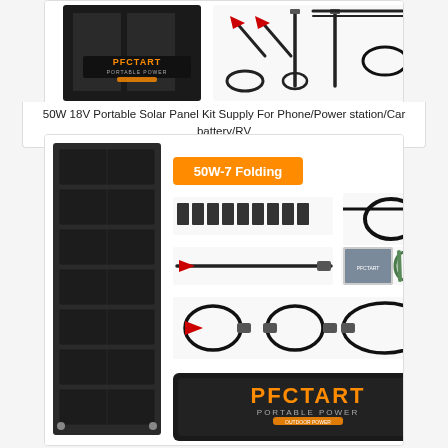[Figure (photo): PFCTART Portable Power 50W solar panel folding kit product photo (top card) - shows folded solar panel on dark background on left, cables and accessories on right]
50W 18V Portable Solar Panel Kit Supply For Phone/Power station/Car battery/RV
[Figure (photo): PFCTART Portable Power 50W-7 Folding solar panel kit product photo (bottom card) - shows tall folded multi-panel solar charger on left, and full kit contents including DC connectors, cables, alligator clips, carabiners, carrying case with PFCTART PORTABLE POWER branding]